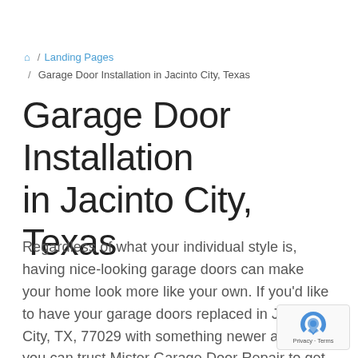🏠 / Landing Pages / Garage Door Installation in Jacinto City, Texas
Garage Door Installation in Jacinto City, Texas
Regardless of what your individual style is, having nice-looking garage doors can make your home look more like your own. If you'd like to have your garage doors replaced in Jacinto City, TX, 77029 with something newer and nicer, you can trust Mister Garage Door Repair to get the job done right.
[Figure (other): reCAPTCHA badge with Privacy and Terms links]